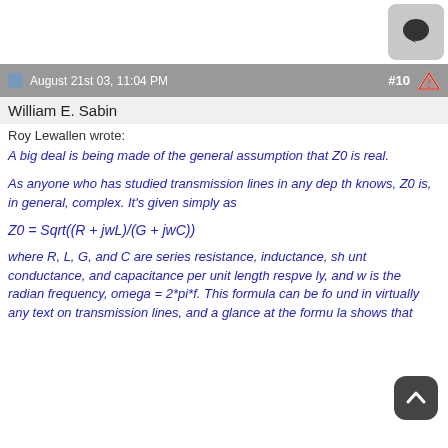[Figure (other): Chat bubble icon in top right corner]
August 21st 03, 11:04 PM  #10  ⚠
William E. Sabin
Roy Lewallen wrote:
A big deal is being made of the general assumption that Z0 is real.
As anyone who has studied transmission lines in any depth knows, Z0 is, in general, complex. It's given simply as
where R, L, G, and C are series resistance, inductance, shunt conductance, and capacitance per unit length respectively, and w is the radian frequency, omega = 2*pi*f. This formula can be found in virtually any text on transmission lines, and a glance at the formula shows that